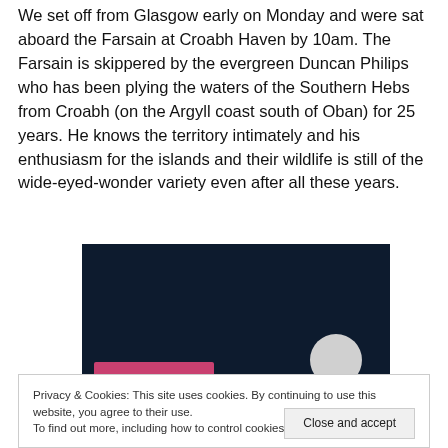We set off from Glasgow early on Monday and were sat aboard the Farsain at Croabh Haven by 10am. The Farsain is skippered by the evergreen Duncan Philips who has been plying the waters of the Southern Hebs from Croabh (on the Argyll coast south of Oban) for 25 years. He knows the territory intimately and his enthusiasm for the islands and their wildlife is still of the wide-eyed-wonder variety even after all these years.
[Figure (photo): A dark navy/black background image partially visible, with a pink/magenta horizontal bar element at the bottom left and a light gray circle shape at the bottom right.]
Privacy & Cookies: This site uses cookies. By continuing to use this website, you agree to their use.
To find out more, including how to control cookies, see here: Cookie Policy